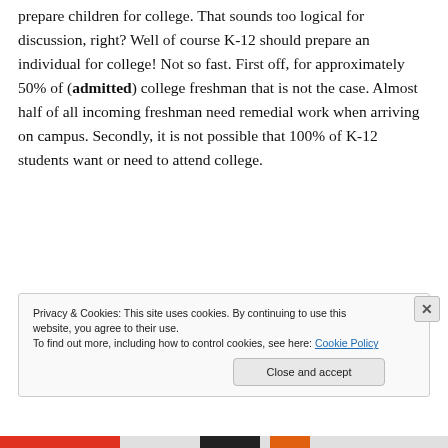prepare children for college. That sounds too logical for discussion, right? Well of course K-12 should prepare an individual for college! Not so fast. First off, for approximately 50% of (admitted) college freshman that is not the case. Almost half of all incoming freshman need remedial work when arriving on campus. Secondly, it is not possible that 100% of K-12 students want or need to attend college.
[Figure (screenshot): Advertisement banner with 'stories.' text on a blue-green gradient background and a photo of a person in a yellow jacket on the right side]
Privacy & Cookies: This site uses cookies. By continuing to use this website, you agree to their use.
To find out more, including how to control cookies, see here: Cookie Policy
Close and accept